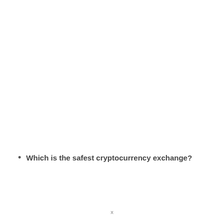Which is the safest cryptocurrency exchange?
x